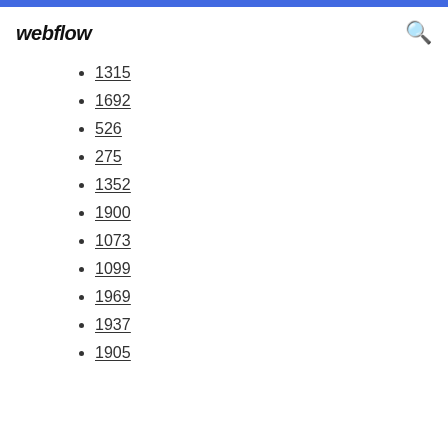webflow
1315
1692
526
275
1352
1900
1073
1099
1969
1937
1905